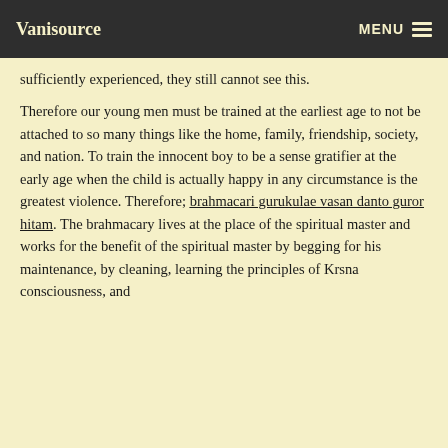Vanisource    MENU
sufficiently experienced, they still cannot see this.
Therefore our young men must be trained at the earliest age to not be attached to so many things like the home, family, friendship, society, and nation. To train the innocent boy to be a sense gratifier at the early age when the child is actually happy in any circumstance is the greatest violence. Therefore; brahmacari gurukulae vasan danto guror hitam. The brahmacary lives at the place of the spiritual master and works for the benefit of the spiritual master by begging for his maintenance, by cleaning, learning the principles of Krsna consciousness, and